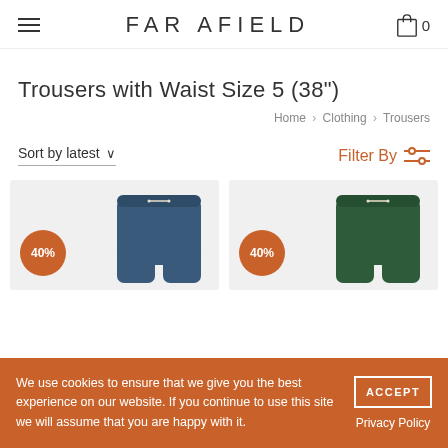FAR AFIELD
Trousers with Waist Size 5 (38")
Home › Clothing › Trousers
Sort by latest
Filter By
[Figure (photo): Two product cards showing trousers: left card shows navy blue trousers with 40% discount badge, right card shows dark green trousers with 40% discount badge, both on light grey background.]
We use cookies to ensure that we give you the best experience on our website. If you continue to use this site we will assume that you are happy with it.
ACCEPT
Privacy Policy